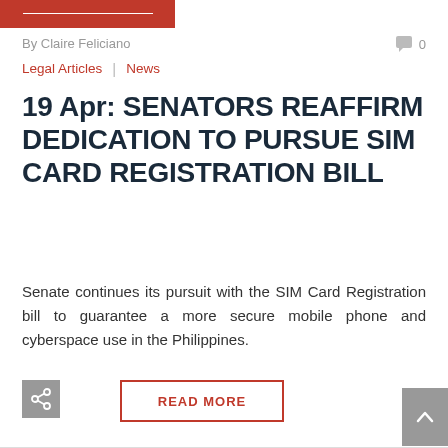[Figure (logo): Red banner/logo image at top left]
By Claire Feliciano  0
Legal Articles | News
19 Apr: SENATORS REAFFIRM DEDICATION TO PURSUE SIM CARD REGISTRATION BILL
Senate continues its pursuit with the SIM Card Registration bill to guarantee a more secure mobile phone and cyberspace use in the Philippines.
READ MORE